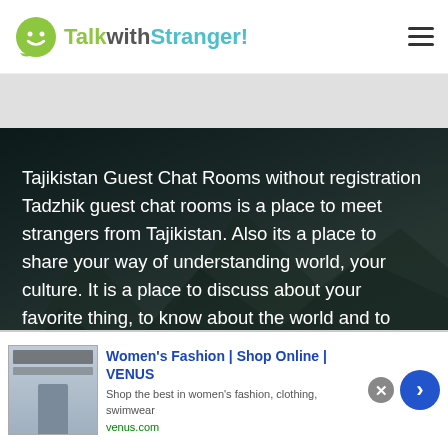TalkwithStranger!
[Figure (photo): Dark mountain landscape background behind white text block about Tajikistan Guest Chat Rooms]
Tajikistan Guest Chat Rooms without registration Tadzhik guest chat rooms is a place to meet strangers from Tajikistan. Also its a place to share your way of understanding world, your culture. It is a place to discuss about your favorite thing, to know about the world and to meet like minded people.
No limits on any user. No signup, registration
[Figure (screenshot): Advertisement banner for Women's Fashion | Shop Online | VENUS. Shows a fashion website screenshot thumbnail, ad title in blue, subtitle text 'Shop the best in women's fashion, clothing, swimwear', URL venus.com, close button and blue arrow button.]